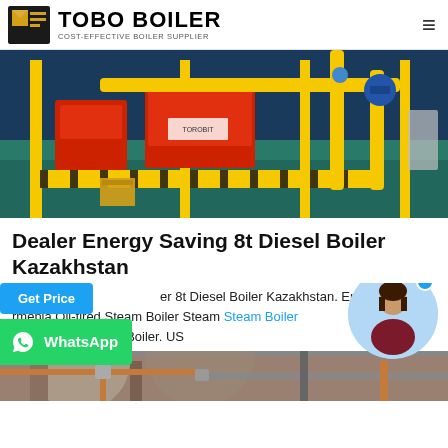TOBO BOILER — COST-EFFECTIVE BOILER SUPPLIER
[Figure (photo): Industrial boiler room with red and yellow equipment, yellow pipes, and green floor.]
Dealer Energy Saving 8t Diesel Boiler Kazakhstan
…er 8t Diesel Boiler Kazakhstan. Energy … Oil …rmenia Oil-fired Steam Boiler Steam Steam Boiler …Diesel Fired Steam Boiler. US …price hot sale Oil natural gas fired boil…
[Figure (photo): Industrial boiler installation with pipes, at the bottom of the page.]